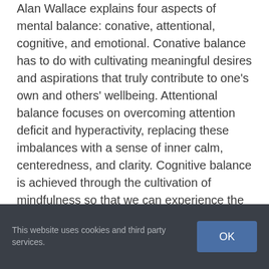Alan Wallace explains four aspects of mental balance: conative, attentional, cognitive, and emotional. Conative balance has to do with cultivating meaningful desires and aspirations that truly contribute to one's own and others' wellbeing. Attentional balance focuses on overcoming attention deficit and hyperactivity, replacing these imbalances with a sense of inner calm, centeredness, and clarity. Cognitive balance is achieved through the cultivation of mindfulness so that we can experience the world without
This website uses cookies and third party services.